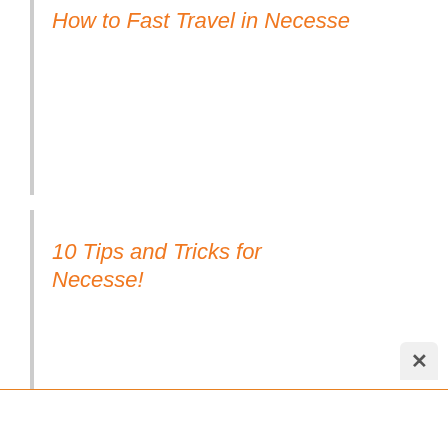How to Fast Travel in Necesse
10 Tips and Tricks for Necesse!